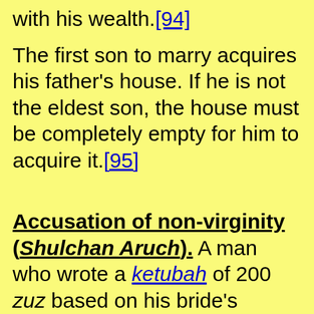with his wealth.[94]
The first son to marry acquires his father's house. If he is not the eldest son, the house must be completely empty for him to acquire it.[95]
Accusation of non-virginity (Shulchan Aruch). A man who wrote a ketubah of 200 zuz based on his bride's presumed virginity may charge her with